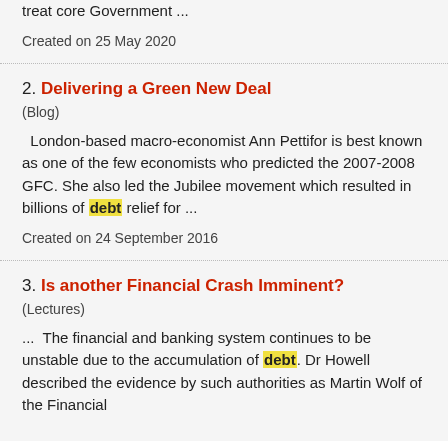treat core Government ...
Created on 25 May 2020
2. Delivering a Green New Deal
(Blog)
London-based macro-economist Ann Pettifor is best known as one of the few economists who predicted the 2007-2008 GFC. She also led the Jubilee movement which resulted in billions of debt relief for ...
Created on 24 September 2016
3. Is another Financial Crash Imminent?
(Lectures)
... The financial and banking system continues to be unstable due to the accumulation of debt. Dr Howell described the evidence by such authorities as Martin Wolf of the Financial